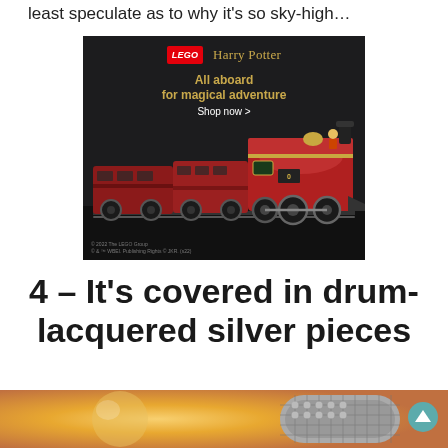least speculate as to why it's so sky-high...
[Figure (illustration): LEGO Harry Potter advertisement banner featuring a red Hogwarts Express train model on a dark background. Header shows LEGO logo and Harry Potter text in gold. Text reads 'All aboard for magical adventure' with 'Shop now >' link. Copyright notice: '© 2022 The LEGO Group © & ™ WBEI. Publishing Rights © JKR. (s22)']
4 – It's covered in drum-lacquered silver pieces
[Figure (photo): Close-up photo of a LEGO piece with drum-lacquered silver finish, shown against a warm golden/orange background]